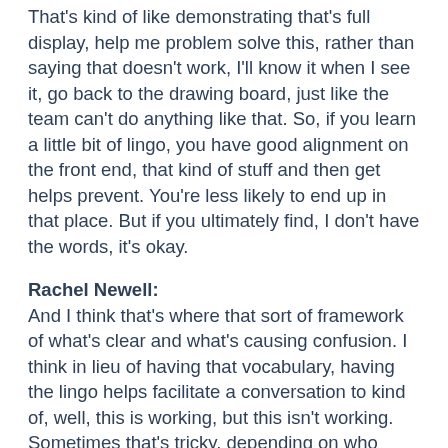That's kind of like demonstrating that's full display, help me problem solve this, rather than saying that doesn't work, I'll know it when I see it, go back to the drawing board, just like the team can't do anything like that. So, if you learn a little bit of lingo, you have good alignment on the front end, that kind of stuff and then get helps prevent. You're less likely to end up in that place. But if you ultimately find, I don't have the words, it's okay.
Rachel Newell:
And I think that's where that sort of framework of what's clear and what's causing confusion. I think in lieu of having that vocabulary, having the lingo helps facilitate a conversation to kind of, well, this is working, but this isn't working. Sometimes that's tricky, depending on who you're working with. That phrase, hey, this is working, this isn't working, you may get a little bit of, well, I think it's working, but if you're able to say, hey, this is clear to me, but this is creating some confusion, I think it sparks, again, empathy conversation of like, well, we don't want anybody to be confused. So hold on, let's talk about it, what's